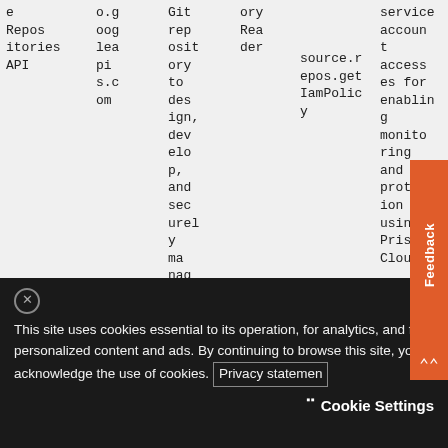| e Repositories API | o.g oog lea pi s.c om | Git rep osit ory to des ign, dev elo p, and sec urel y ma nag e you | ory Rea der |  | source.r epos.get IamPolic y | service accoun t access es for enablin g monito ring and prote ion using Pris m Clou |
This site uses cookies essential to its operation, for analytics, and for personalized content and ads. By continuing to browse this site, you acknowledge the use of cookies. Privacy statement
Cookie Settings